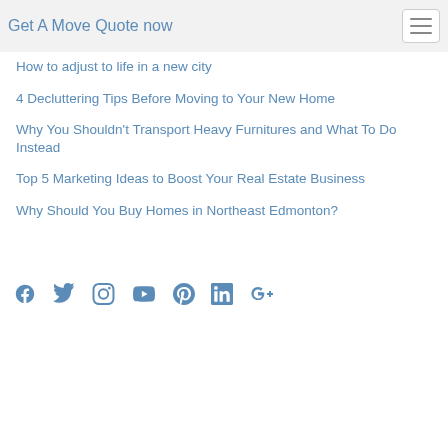Get A Move Quote now
How to adjust to life in a new city
4 Decluttering Tips Before Moving to Your New Home
Why You Shouldn't Transport Heavy Furnitures and What To Do Instead
Top 5 Marketing Ideas to Boost Your Real Estate Business
Why Should You Buy Homes in Northeast Edmonton?
[Figure (infographic): Row of social media icons: Facebook, Twitter, Instagram, YouTube, Pinterest, LinkedIn, Google+]